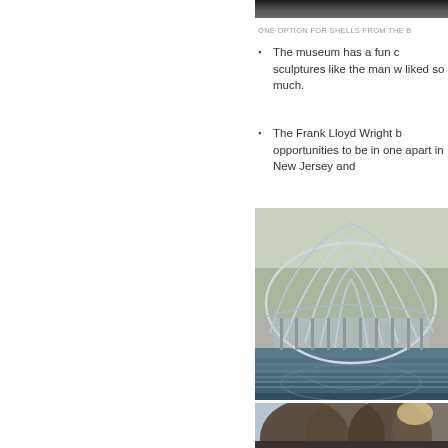[Figure (photo): Top strip of a photo showing a dark interior or ceiling area]
ONE OPTION FOR SHELLS FROM THE B
The museum has a fun c sculptures like the man w liked so much.
The Frank Lloyd Wright b opportunities to be in one apart in New Jersey and
[Figure (photo): Exterior architectural photo showing a large dome/shell structure with glass panels and metal ribs over a reflecting pool or water feature, with trees in background]
[Figure (photo): Exterior architectural photo showing curved building facades with brick or stone, photographed from a low angle with bright sky]